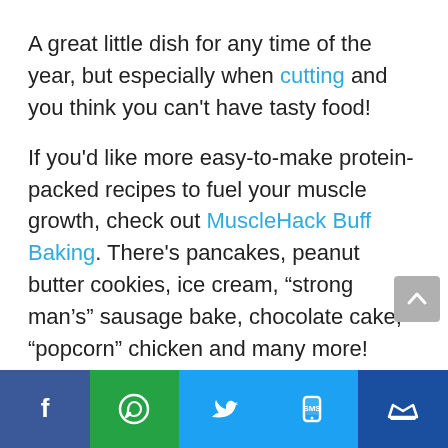A great little dish for any time of the year, but especially when cutting and you think you can't have tasty food!
If you'd like more easy-to-make protein-packed recipes to fuel your muscle growth, check out MuscleHack Buff Baking. There's pancakes, peanut butter cookies, ice cream, “strong man’s” sausage bake, chocolate cake, “popcorn” chicken and many more!
[Figure (other): Social media share bar with Facebook, WhatsApp, Twitter, SMS, and crown/email icons]